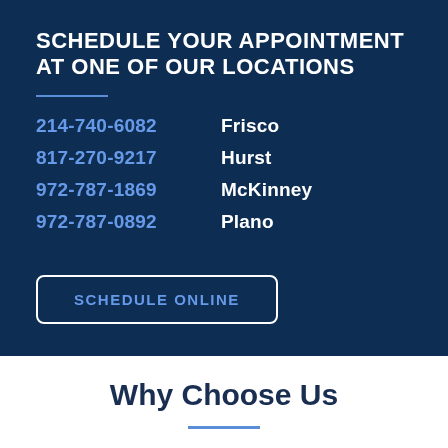SCHEDULE YOUR APPOINTMENT AT ONE OF OUR LOCATIONS
214-740-6082   Frisco
817-270-9217   Hurst
972-787-1869   McKinney
972-787-0892   Plano
SCHEDULE ONLINE
Why Choose Us
You'll feel right at home with our soothing touches, consisting of TVs to help take your